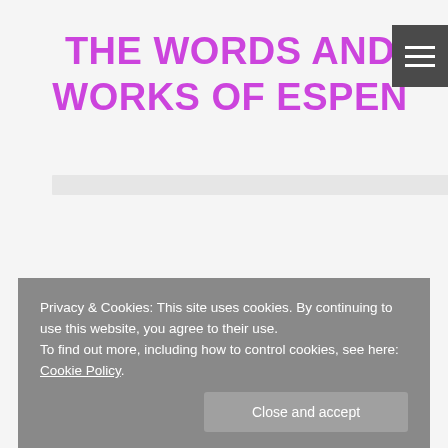THE WORDS AND WORKS OF ESPEN
[Figure (other): Hamburger menu icon button with three horizontal white lines on dark grey background]
[Figure (other): Search bar / input field with light grey background]
Privacy & Cookies: This site uses cookies. By continuing to use this website, you agree to their use.
To find out more, including how to control cookies, see here: Cookie Policy.
Close and accept